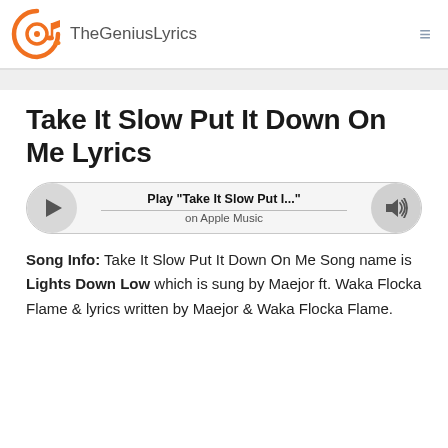TheGeniusLyrics
Take It Slow Put It Down On Me Lyrics
[Figure (other): Music player bar with play button, 'Play "Take It Slow Put I..."' text, 'on Apple Music' subtext, and volume icon]
Song Info: Take It Slow Put It Down On Me Song name is Lights Down Low which is sung by Maejor ft. Waka Flocka Flame & lyrics written by Maejor & Waka Flocka Flame.